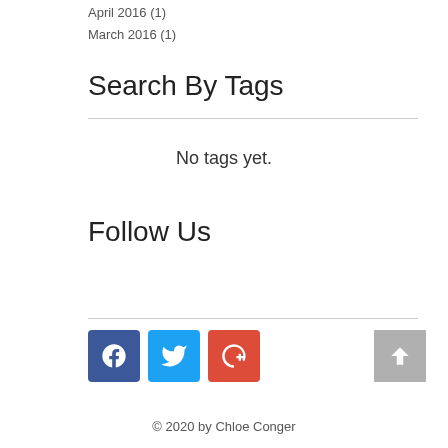April 2016 (1)
March 2016 (1)
Search By Tags
No tags yet.
Follow Us
© 2020 by Chloe Conger